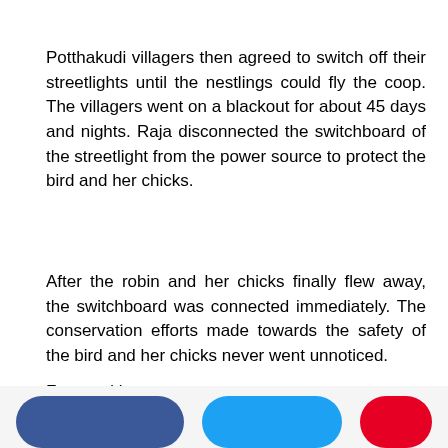Potthakudi villagers then agreed to switch off their streetlights until the nestlings could fly the coop. The villagers went on a blackout for about 45 days and nights. Raja disconnected the switchboard of the streetlight from the power source to protect the bird and her chicks.
After the robin and her chicks finally flew away, the switchboard was connected immediately. The conservation efforts made towards the safety of the bird and her chicks never went unnoticed.
Featured image source
[Figure (other): Social sharing buttons: Facebook (blue), Twitter (light blue), Pinterest (red), partially visible at bottom of page]